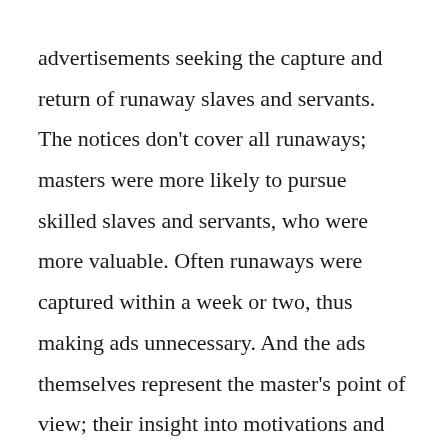advertisements seeking the capture and return of runaway slaves and servants. The notices don't cover all runaways; masters were more likely to pursue skilled slaves and servants, who were more valuable. Often runaways were captured within a week or two, thus making ads unnecessary. And the ads themselves represent the master's point of view; their insight into motivations and purposes of flight is therefore suspect. Despite these caveats, the advertisements reveal a remarkable amount of detail about the lives of slaves and